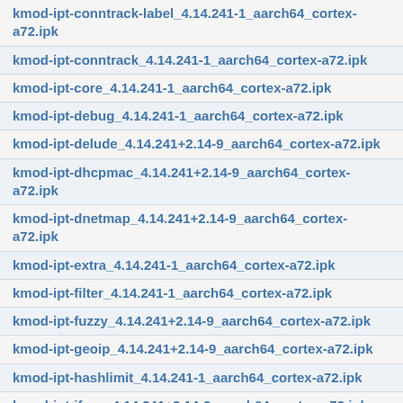kmod-ipt-conntrack-label_4.14.241-1_aarch64_cortex-a72.ipk
kmod-ipt-conntrack_4.14.241-1_aarch64_cortex-a72.ipk
kmod-ipt-core_4.14.241-1_aarch64_cortex-a72.ipk
kmod-ipt-debug_4.14.241-1_aarch64_cortex-a72.ipk
kmod-ipt-delude_4.14.241+2.14-9_aarch64_cortex-a72.ipk
kmod-ipt-dhcpmac_4.14.241+2.14-9_aarch64_cortex-a72.ipk
kmod-ipt-dnetmap_4.14.241+2.14-9_aarch64_cortex-a72.ipk
kmod-ipt-extra_4.14.241-1_aarch64_cortex-a72.ipk
kmod-ipt-filter_4.14.241-1_aarch64_cortex-a72.ipk
kmod-ipt-fuzzy_4.14.241+2.14-9_aarch64_cortex-a72.ipk
kmod-ipt-geoip_4.14.241+2.14-9_aarch64_cortex-a72.ipk
kmod-ipt-hashlimit_4.14.241-1_aarch64_cortex-a72.ipk
kmod-ipt-iface_4.14.241+2.14-9_aarch64_cortex-a72.ipk
kmod-ipt-ipmark_4.14.241+2.14-9_aarch64_cortex-a72.ipk
kmod-ipt-ipopt_4.14.241-1_aarch64_cortex-a72.ipk
kmod-ipt-ipp2p_4.14.241+2.14-9_aarch64_cortex-a72.ipk
kmod-ipt-iprange_4.14.241-1_aarch64_cortex-a72.ipk
kmod-ipt-ipsec_4.14.241-1_aarch64_cortex-a72.ipk
kmod-ipt-ipset_4.14.241-1_aarch64_cortex-a72.ipk
kmod-ipt-ipv4options_4.14.241+2.14-9_aarch64_cortex-a72.ipk